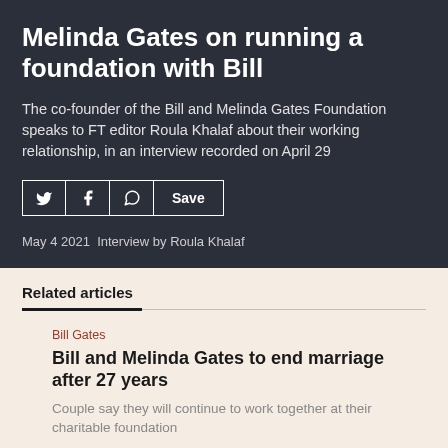Melinda Gates on running a foundation with Bill
The co-founder of the Bill and Melinda Gates Foundation speaks to FT editor Roula Khalaf about their working relationship, in an interview recorded on April 29
May 4 2021  Interview by Roula Khalaf
Related articles
Bill Gates
Bill and Melinda Gates to end marriage after 27 years
Couple say they will continue to work together at their charitable foundation